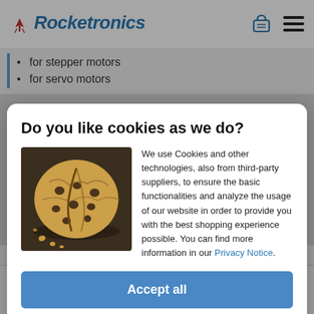Rocketronics
for stepper motors
for servo motors
Do you like cookies as we do?
[Figure (photo): A broken chocolate chip cookie on a dark surface]
We use Cookies and other technologies, also from third-party suppliers, to ensure the basic functionalities and analyze the usage of our website in order to provide you with the best shopping experience possible. You can find more information in our Privacy Notice.
Accept all
More information
Characteristic torque 1.4 Nm
SEHR GUT (4.90 / 5) 143 Bewertungen bei SHOPVOTE Informationen zur Echtheit der Bewertungen